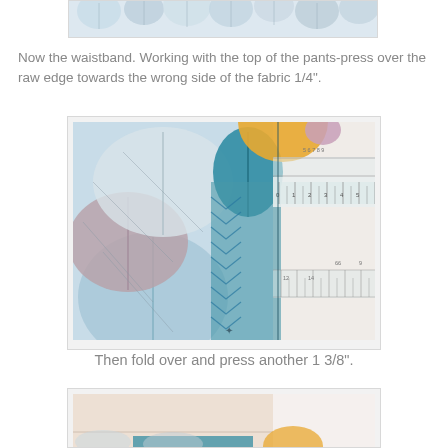[Figure (photo): Partial view of colorful leaf-patterned fabric, cropped at top]
Now the waistband. Working with the top of the pants-press over the raw edge towards the wrong side of the fabric 1/4".
[Figure (photo): Close-up photo of colorful leaf and chevron patterned fabric being measured with a ruler, showing the waistband being pressed]
Then fold over and press another 1 3/8".
[Figure (photo): Partial view of the bottom of another sewing instruction photo showing fabric]